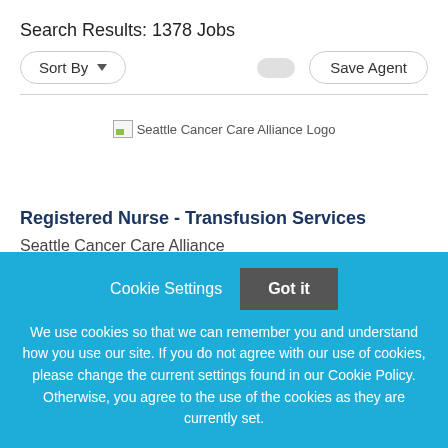Search Results: 1378 Jobs
Sort By  Save Agent
[Figure (logo): Seattle Cancer Care Alliance Logo placeholder image]
Registered Nurse - Transfusion Services
Seattle Cancer Care Alliance
Cookie Settings  Got it
We use cookies so that we can remember you and understand how you use our site. If you do not agree with our use of cookies, please change the current settings found in our Cookie Policy. Otherwise, you agree to the use of the cookies as they are currently set.